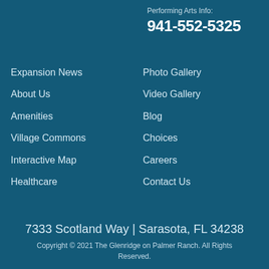Performing Arts Info:
941-552-5325
Expansion News
About Us
Amenities
Village Commons
Interactive Map
Healthcare
Photo Gallery
Video Gallery
Blog
Choices
Careers
Contact Us
7333 Scotland Way | Sarasota, FL 34238
Copyright © 2021 The Glenridge on Palmer Ranch. All Rights Reserved.